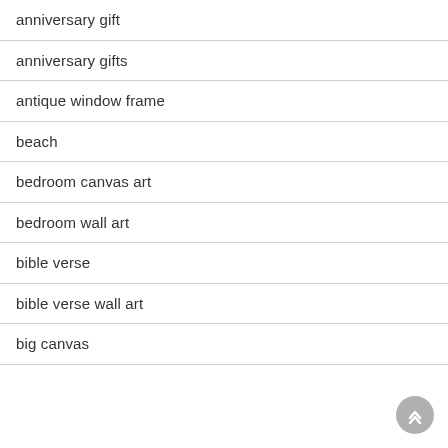anniversary gift
anniversary gifts
antique window frame
beach
bedroom canvas art
bedroom wall art
bible verse
bible verse wall art
big canvas